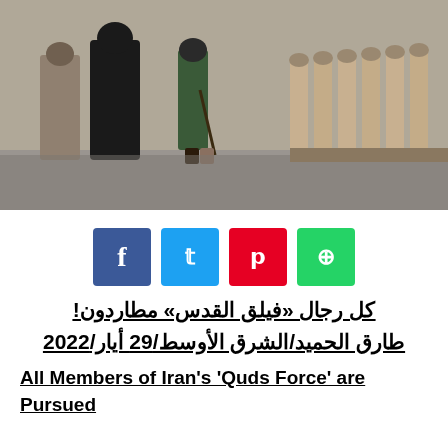[Figure (photo): Military parade scene showing men in black clerical robes and IRGC green uniform walking in front of rows of soldiers in desert camouflage]
Social sharing buttons: Facebook, Twitter, Pinterest, WhatsApp
كل رجال «فيلق القدس» مطاردون! طارق الحميد/الشرق الأوسط/29 أيار/2022
All Members of Iran's 'Quds Force' are Pursued